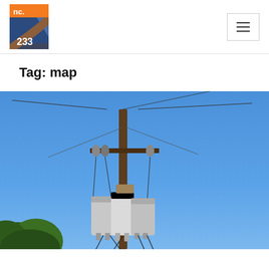nc. 233 logo and navigation menu
Tag: map
[Figure (photo): Photograph of a utility pole with electrical transformers against a clear blue sky, with green tree foliage visible at the lower left.]